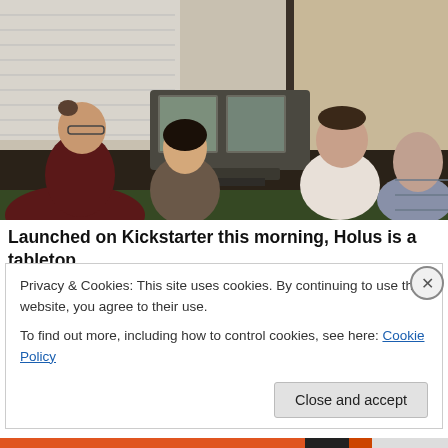[Figure (photo): Four people (two men, one woman, one other) sitting around a table examining a tabletop holographic display device (Holus) in a room setting.]
Launched on Kickstarter this morning, Holus is a tabletop
Privacy & Cookies: This site uses cookies. By continuing to use this website, you agree to their use.
To find out more, including how to control cookies, see here: Cookie Policy
Close and accept